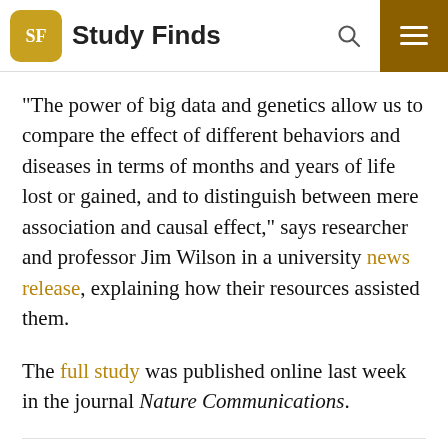Study Finds
“The power of big data and genetics allow us to compare the effect of different behaviors and diseases in terms of months and years of life lost or gained, and to distinguish between mere association and causal effect,” says researcher and professor Jim Wilson in a university news release, explaining how their resources assisted them.
The full study was published online last week in the journal Nature Communications.
TAGS: EDUCATION, LIFE, LIFESPAN, LONG LIFE, LONGEVITY, OVERWEIGHT, WEIGHT